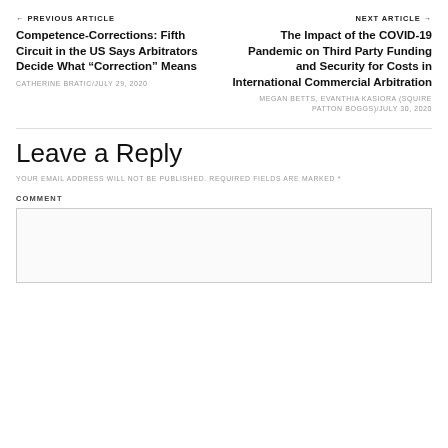← PREVIOUS ARTICLE
NEXT ARTICLE →
Competence-Corrections: Fifth Circuit in the US Says Arbitrators Decide What “Correction” Means
CATHERINE BRATIC/JULY 29, 2020
The Impact of the COVID-19 Pandemic on Third Party Funding and Security for Costs in International Commercial Arbitration
MEGAN BETTS, EVANTHIA KASIORA (SQUIRE PATTON BOGGS)/JULY 30, 2020
Leave a Reply
YOUR EMAIL ADDRESS WILL NOT BE PUBLISHED. REQUIRED FIELDS ARE MARKED *
COMMENT